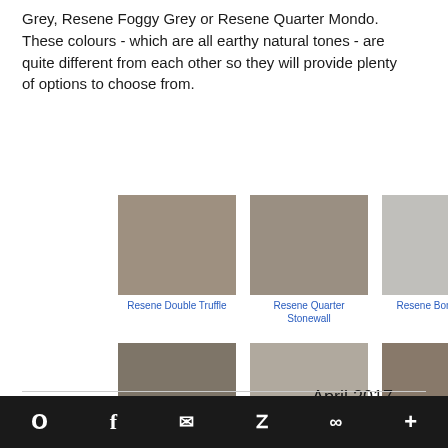Grey, Resene Foggy Grey or Resene Quarter Mondo. These colours - which are all earthy natural tones - are quite different from each other so they will provide plenty of options to choose from.
[Figure (other): Six paint colour swatches arranged in a 2x3 grid. Top row: Resene Double Truffle (warm grey-brown), Resene Quarter Stonewall (medium taupe grey), Resene Bone White (light cool grey). Bottom row: Resene Taupe Grey (dark warm grey), Resene Foggy Grey (light warm grey), Resene Quarter Mondo (medium brown-grey).]
April 2017
Pinterest | Facebook | Email | Twitter | Share | +